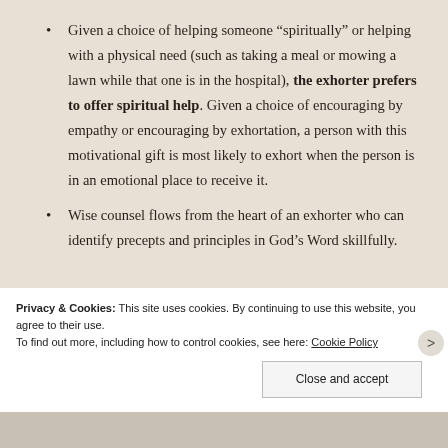Given a choice of helping someone “spiritually” or helping with a physical need (such as taking a meal or mowing a lawn while that one is in the hospital), the exhorter prefers to offer spiritual help. Given a choice of encouraging by empathy or encouraging by exhortation, a person with this motivational gift is most likely to exhort when the person is in an emotional place to receive it.
Wise counsel flows from the heart of an exhorter who can identify precepts and principles in God’s Word skillfully.
[partial line cut off]
Privacy & Cookies: This site uses cookies. By continuing to use this website, you agree to their use. To find out more, including how to control cookies, see here: Cookie Policy